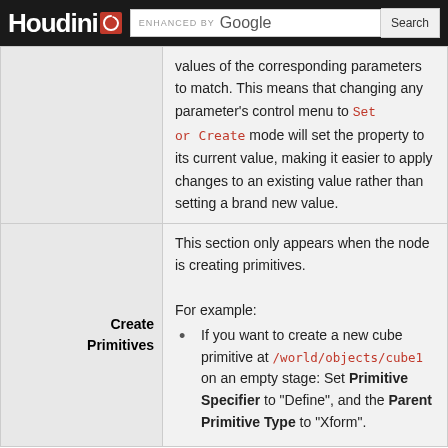Houdini | ENHANCED BY Google | Search
|  |  |
| --- | --- |
|  | values of the corresponding parameters to match. This means that changing any parameter's control menu to Set or Create mode will set the property to its current value, making it easier to apply changes to an existing value rather than setting a brand new value. |
| Create Primitives | This section only appears when the node is creating primitives.

For example:
• If you want to create a new cube primitive at /world/objects/cube1 on an empty stage: Set Primitive Specifier to "Define", and the Parent Primitive Type to "Xform". |